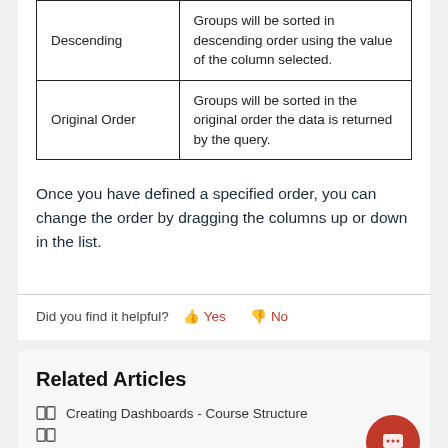| Descending | Groups will be sorted in descending order using the value of the column selected. |
| Original Order | Groups will be sorted in the original order the data is returned by the query. |
Once you have defined a specified order, you can change the order by dragging the columns up or down in the list.
Did you find it helpful? Yes No
Related Articles
Creating Dashboards - Course Structure